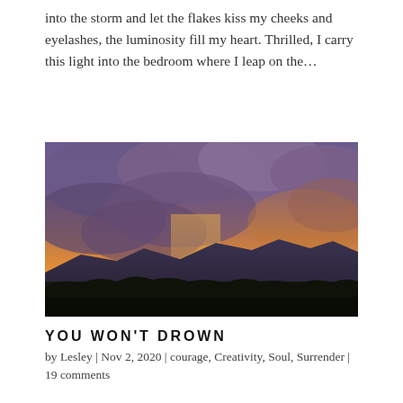into the storm and let the flakes kiss my cheeks and eyelashes, the luminosity fill my heart. Thrilled, I carry this light into the bedroom where I leap on the…
[Figure (photo): A dramatic sunset landscape photograph showing vivid orange and yellow light breaking through deep purple and blue storm clouds, illuminating mountain silhouettes and dark tree-covered foreground hills.]
YOU WON'T DROWN
by Lesley | Nov 2, 2020 | courage, Creativity, Soul, Surrender | 19 comments